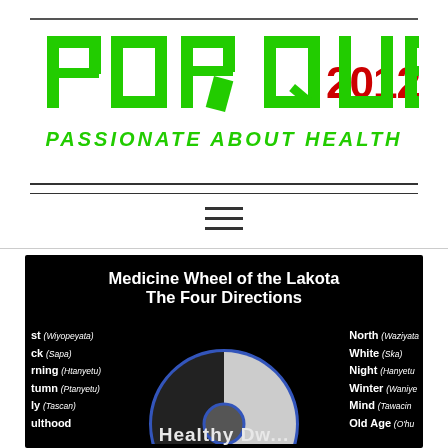[Figure (logo): POR QUE 2012 - Passionate About Health logo with stylized green block letters and red '2012' text]
[Figure (infographic): Medicine Wheel of the Lakota - The Four Directions diagram showing a circular wheel divided into sections (black and white/grey) with directional labels. West (Wiyopeyata) Black (Sapa) Evening (Htanyetu) Autumn (Ptanyetu) Fly (Tascan) Adulthood on the left; North (Waziyata) White (Ska) Night (Hanyetu) Winter (Waniye) Mind (Tawacin) Old Age (O'hu) on the right. Bottom text reads 'Healthy Dw...']